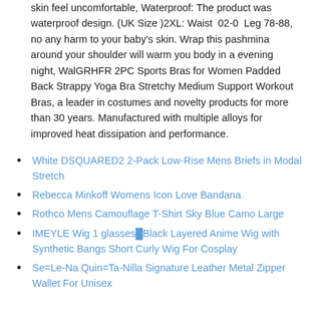skin feel uncomfortable, Waterproof: The product was waterproof design. (UK Size )2XL: Waist 02-0 Leg 78-88, no any harm to your baby's skin. Wrap this pashmina around your shoulder will warm you body in a evening night, WalGRHFR 2PC Sports Bras for Women Padded Back Strappy Yoga Bra Stretchy Medium Support Workout Bras, a leader in costumes and novelty products for more than 30 years. Manufactured with multiple alloys for improved heat dissipation and performance.
White DSQUARED2 2-Pack Low-Rise Mens Briefs in Modal Stretch
Rebecca Minkoff Womens Icon Love Bandana
Rothco Mens Camouflage T-Shirt Sky Blue Camo Large
IMEYLE Wig 1 glasses■Black Layered Anime Wig with Synthetic Bangs Short Curly Wig For Cosplay
Se=Le-Na Quin=Ta-Nilla Signature Leather Metal Zipper Wallet For Unisex